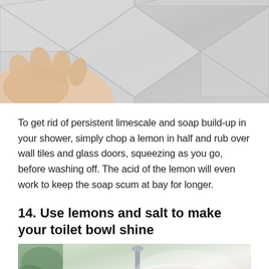[Figure (photo): Photo of a hand rubbing a lemon on white shower wall tiles]
To get rid of persistent limescale and soap build-up in your shower, simply chop a lemon in half and rub over wall tiles and glass doors, squeezing as you go, before washing off. The acid of the lemon will even work to keep the soap scum at bay for longer.
14. Use lemons and salt to make your toilet bowl shine
[Figure (photo): Photo of a toilet bowl, blurred/close-up view]